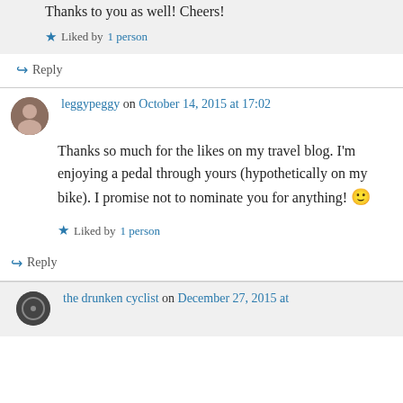Thanks to you as well! Cheers!
★ Liked by 1 person
↪ Reply
leggypeggy on October 14, 2015 at 17:02
Thanks so much for the likes on my travel blog. I'm enjoying a pedal through yours (hypothetically on my bike). I promise not to nominate you for anything! 🙂
★ Liked by 1 person
↪ Reply
the drunken cyclist on December 27, 2015 at